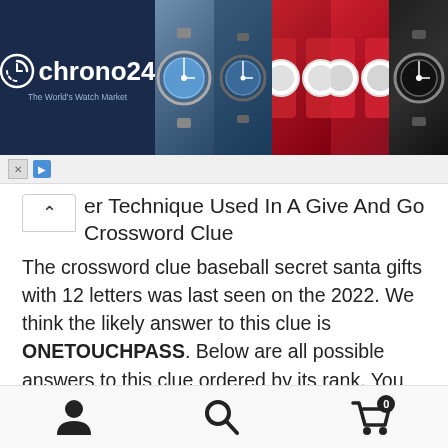[Figure (screenshot): Chrono24 watch marketplace advertisement banner with logo on left and watch photos on right]
er Technique Used In A Give And Go Crossword Clue
The crossword clue baseball secret santa gifts with 12 letters was last seen on the 2022. We think the likely answer to this clue is ONETOUCHPASS. Below are all possible answers to this clue ordered by its rank. You can easily improve your search by specifying the number of letters in the answer.
Crosswords can be an excellent way to stimulate your brain, pass the time, and challenge yourself all at once. Of course, sometimes the crossword clue totally stumps